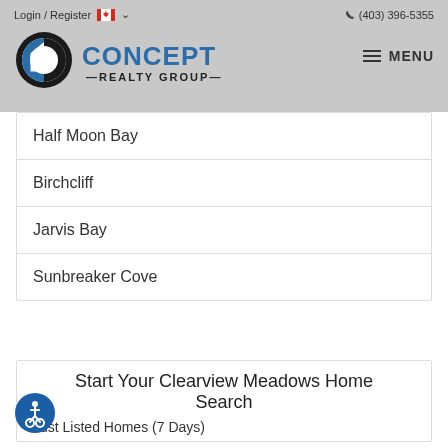Login / Register  (403) 396-5355
[Figure (logo): Concept Realty Group logo with circular icon and text]
Half Moon Bay
Birchcliff
Jarvis Bay
Sunbreaker Cove
Start Your Clearview Meadows Home Search
Just Listed Homes (7 Days)